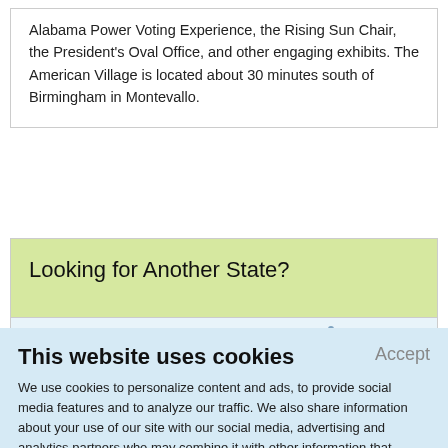Alabama Power Voting Experience, the Rising Sun Chair, the President's Oval Office, and other engaging exhibits. The American Village is located about 30 minutes south of Birmingham in Montevallo.
Looking for Another State?
[Figure (map): Partial map graphic visible behind cookie overlay]
This website uses cookies
Accept
We use cookies to personalize content and ads, to provide social media features and to analyze our traffic. We also share information about your use of our site with our social media, advertising and analytics partners who may combine it with other information that you've provided to them or that they've collected from your use of their services.
Learn More.
The Organizing Solution: Nine Strategies for Simplifying Your Life